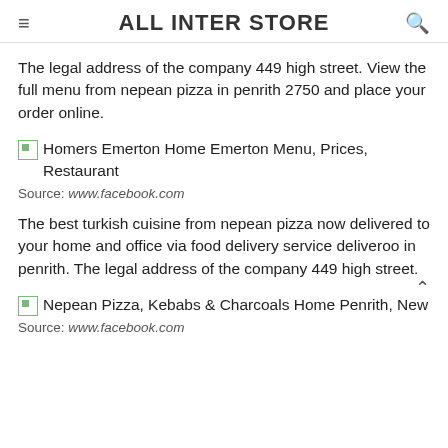ALL INTER STORE
The legal address of the company 449 high street. View the full menu from nepean pizza in penrith 2750 and place your order online.
[Figure (photo): Broken image placeholder with caption: Homers Emerton Home Emerton Menu, Prices, Restaurant]
Source: www.facebook.com
The best turkish cuisine from nepean pizza now delivered to your home and office via food delivery service deliveroo in penrith. The legal address of the company 449 high street.
[Figure (photo): Broken image placeholder with caption: Nepean Pizza, Kebabs & Charcoals Home Penrith, New]
Source: www.facebook.com